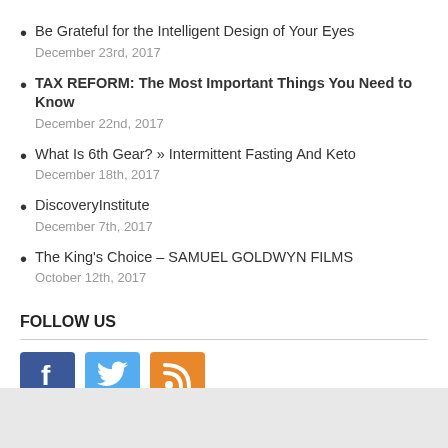Be Grateful for the Intelligent Design of Your Eyes
December 23rd, 2017
TAX REFORM: The Most Important Things You Need to Know
December 22nd, 2017
What Is 6th Gear? » Intermittent Fasting And Keto
December 18th, 2017
DiscoveryInstitute
December 7th, 2017
The King's Choice – SAMUEL GOLDWYN FILMS
October 12th, 2017
FOLLOW US
[Figure (illustration): Social media icons: Facebook (blue), Twitter (light blue), RSS (orange)]